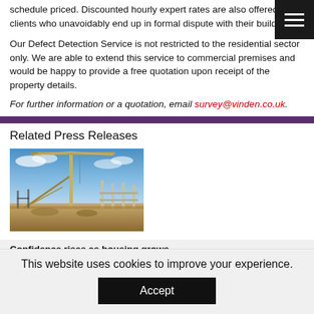schedule priced. Discounted hourly expert rates are also offered to clients who unavoidably end up in formal dispute with their builder.
Our Defect Detection Service is not restricted to the residential sector only. We are able to extend this service to commercial premises and would be happy to provide a free quotation upon receipt of the property details.
For further information or a quotation, email survey@vinden.co.uk.
Related Press Releases
[Figure (photo): Construction site with a tall crane against a blue sky, with scaffolding and building materials visible.]
Confidence rises as housing grows
This website uses cookies to improve your experience.